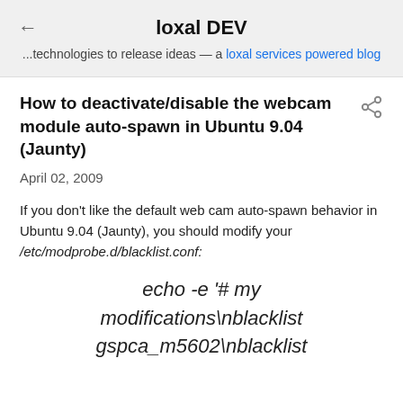loxal DEV ...technologies to release ideas — a loxal services powered blog
How to deactivate/disable the webcam module auto-spawn in Ubuntu 9.04 (Jaunty)
April 02, 2009
If you don't like the default web cam auto-spawn behavior in Ubuntu 9.04 (Jaunty), you should modify your /etc/modprobe.d/blacklist.conf:
echo -e '# my modifications\nblacklist gspca_m5602\nblacklist